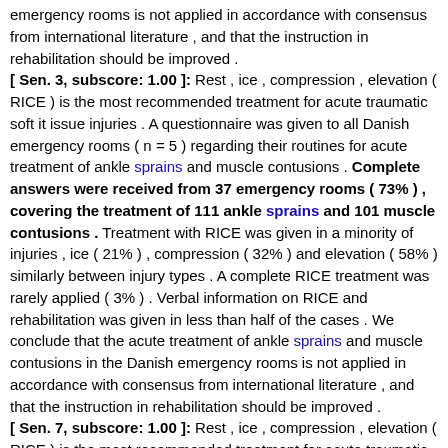emergency rooms is not applied in accordance with consensus from international literature , and that the instruction in rehabilitation should be improved .
[ Sen. 3, subscore: 1.00 ]: Rest , ice , compression , elevation ( RICE ) is the most recommended treatment for acute traumatic soft it issue injuries . A questionnaire was given to all Danish emergency rooms ( n = 5 ) regarding their routines for acute treatment of ankle sprains and muscle contusions . Complete answers were received from 37 emergency rooms ( 73% ) , covering the treatment of 111 ankle sprains and 101 muscle contusions . Treatment with RICE was given in a minority of injuries , ice ( 21% ) , compression ( 32% ) and elevation ( 58% ) similarly between injury types . A complete RICE treatment was rarely applied ( 3% ) . Verbal information on RICE and rehabilitation was given in less than half of the cases . We conclude that the acute treatment of ankle sprains and muscle contusions in the Danish emergency rooms is not applied in accordance with consensus from international literature , and that the instruction in rehabilitation should be improved .
[ Sen. 7, subscore: 1.00 ]: Rest , ice , compression , elevation ( RICE ) is the most recommended treatment for acute traumatic soft it issue injuries . A questionnaire was given to all Danish emergency rooms ( n = 5 ) regarding their routines for acute treatment of ankle sprains and muscle contusions . Complete answers were received from 37 emergency rooms ( 73% ) , covering the treatment of 111 ankle sprains and 101 muscle contusions . Treatment with RICE was given in a minority of injuries , ice ( 21% ) , compression ( 32% ) and elevation ( 58% ) similarly between injury types . A complete RICE treatment was rarely applied ( 3% ) . Verbal information on RICE and rehabilitation was given in less than half of the cases . We conclude that the acute treatment of ankle sprains and muscle contusions in the Danish